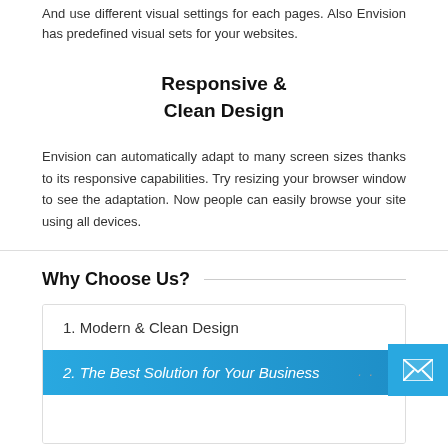And use different visual settings for each pages. Also Envision has predefined visual sets for your websites.
Responsive & Clean Design
Envision can automatically adapt to many screen sizes thanks to its responsive capabilities. Try resizing your browser window to see the adaptation. Now people can easily browse your site using all devices.
Why Choose Us?
1. Modern & Clean Design
2. The Best Solution for Your Business